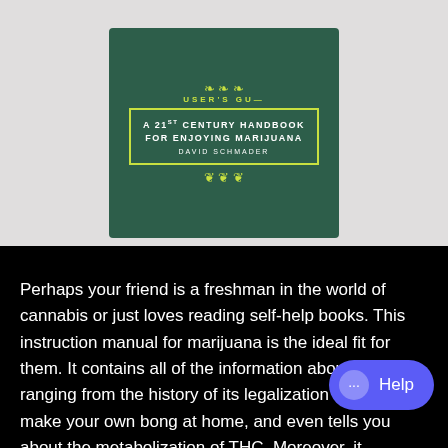[Figure (photo): Book cover of a cannabis user's guide — A 21st Century Handbook for Enjoying Marijuana by David Schmader, shown on a light gray background. The cover is dark green with yellow-green decorative leaf and floral borders, white text.]
Perhaps your friend is a freshman in the world of cannabis or just loves reading self-help books. This instruction manual for marijuana is the ideal fit for them. It contains all of the information about weed, ranging from the history of its legalization to how to make your own bong at home, and even tells you about the metabolization of THC. Moreover, it contains tips and tricks on how to make your hash experience more enjoyable.